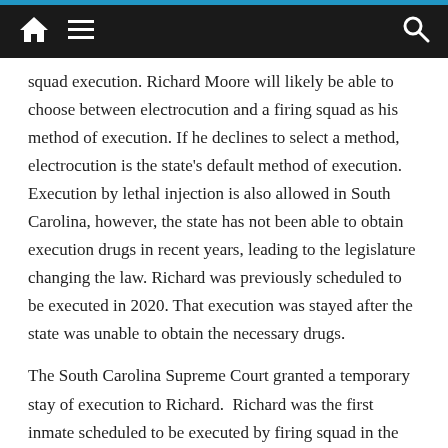Navigation bar with home, menu, and search icons
squad execution. Richard Moore will likely be able to choose between electrocution and a firing squad as his method of execution. If he declines to select a method, electrocution is the state’s default method of execution. Execution by lethal injection is also allowed in South Carolina, however, the state has not been able to obtain execution drugs in recent years, leading to the legislature changing the law. Richard was previously scheduled to be executed in 2020. That execution was stayed after the state was unable to obtain the necessary drugs.
The South Carolina Supreme Court granted a temporary stay of execution to Richard.  Richard was the first inmate scheduled to be executed by firing squad in the state.  In his request to halt his execution, Richard alleged that South Carolina had not made a “good faith effort” to locate lethal